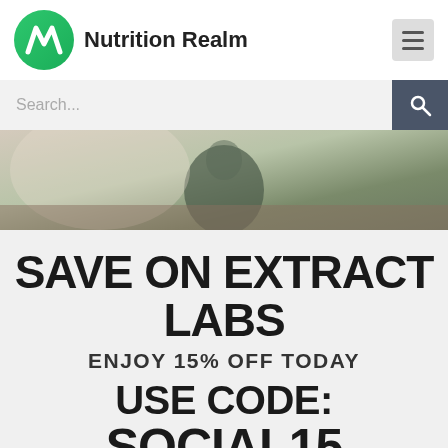Nutrition Realm
[Figure (screenshot): Search bar with placeholder text 'Search...' and dark search button with magnifying glass icon]
[Figure (photo): Partial hero image showing a person outdoors, muted tones]
SAVE ON EXTRACT LABS
ENJOY 15% OFF TODAY
USE CODE:
SOCIAL15